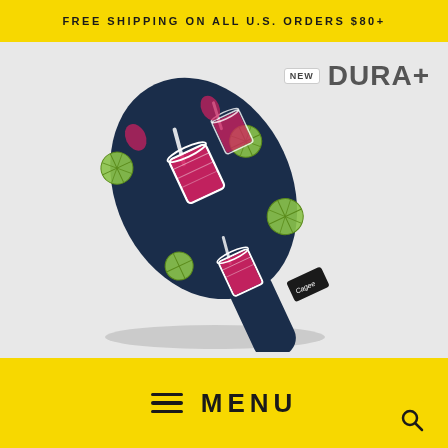FREE SHIPPING ON ALL U.S. ORDERS $80+
[Figure (photo): Navy blue golf club head cover with colorful cocktail drink and lime slice pattern, brand tag visible, displayed diagonally. Badge shows NEW DURA+ logo in upper right.]
≡  MENU